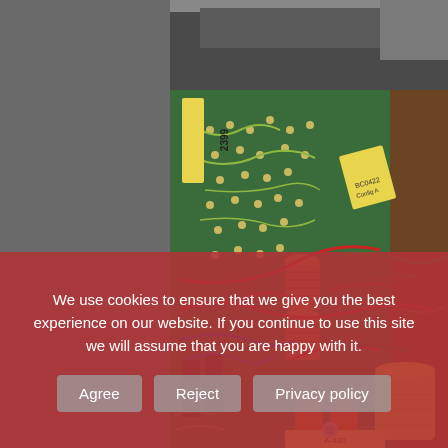[Figure (photo): Close-up photograph of the interior of an electronic device showing a green circuit board with solder joints, orange capacitors, copper wire coils/inductors, various colored wires (red, green, blue, brown), a large yellow electrolytic capacitor on the right, and a yellow label marked '2399' on the left side of the board. Another brown circuit board is visible on the right. The components appear to be from vintage electronics.]
We use cookies to ensure that we give you the best experience on our website. If you continue to use this site we will assume that you are happy with it.